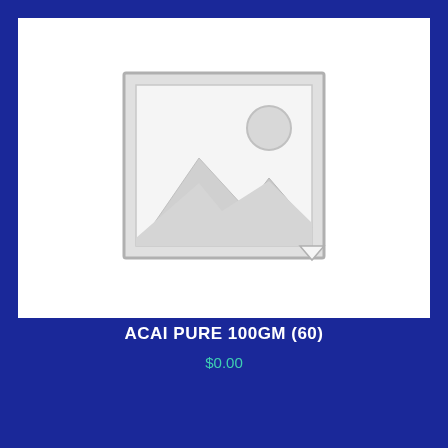[Figure (illustration): Placeholder image icon showing a landscape with mountains and sun outline in grey on white background]
ACAI PURE 100GM (60)
$0.00